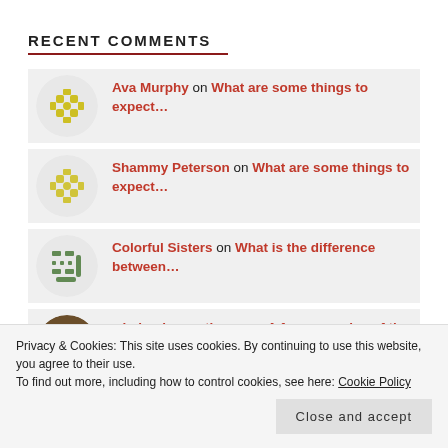RECENT COMMENTS
Ava Murphy on What are some things to expect...
Shammy Peterson on What are some things to expect...
Colorful Sisters on What is the difference between...
wisdomlaneantiques on A few examples of the differen...
Michael Gallagher on A few examples of the...
Privacy & Cookies: This site uses cookies. By continuing to use this website, you agree to their use.
To find out more, including how to control cookies, see here: Cookie Policy
Close and accept